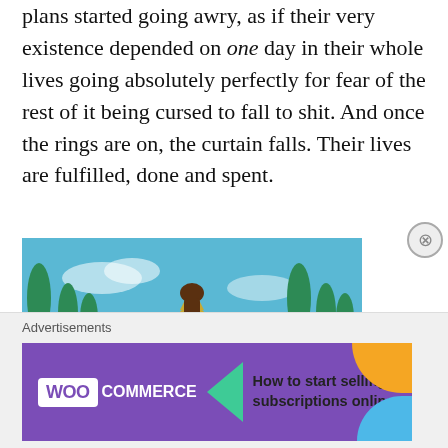plans started going awry, as if their very existence depended on one day in their whole lives going absolutely perfectly for fear of the rest of it being cursed to fall to shit. And once the rings are on, the curtain falls. Their lives are fulfilled, done and spent.
[Figure (illustration): Animated-style illustration of an ornate golden carriage or crest with a couple inside, red curtains, blue sky background with stylized trees]
Advertisements
[Figure (screenshot): WooCommerce advertisement banner: purple background with WooCommerce logo, green arrow shape, text reading 'How to start selling subscriptions online', orange and blue decorative blobs]